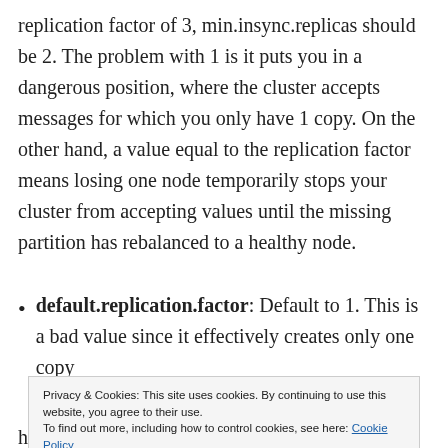replication factor of 3, min.insync.replicas should be 2. The problem with 1 is it puts you in a dangerous position, where the cluster accepts messages for which you only have 1 copy. On the other hand, a value equal to the replication factor means losing one node temporarily stops your cluster from accepting values until the missing partition has rebalanced to a healthy node.
default.replication.factor: Default to 1. This is a bad value since it effectively creates only one copy
Privacy & Cookies: This site uses cookies. By continuing to use this website, you agree to their use. To find out more, including how to control cookies, see here: Cookie Policy
have copies of the partition, resulting in